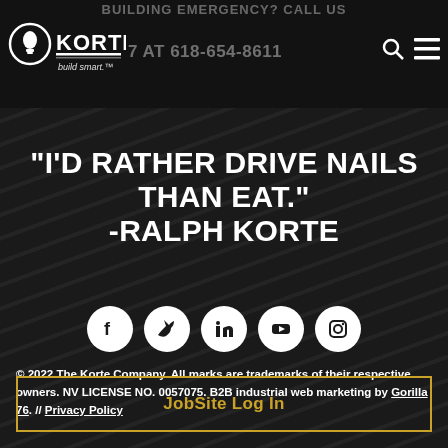BUILDING EMERGENCY? CALL US 24/7 AT 618-654-8611
[Figure (logo): Korte Company logo with lightbulb icon, text KORTE and tagline build smart.]
"I'D RATHER DRIVE NAILS THAN EAT." -RALPH KORTE
[Figure (infographic): Row of 5 social media icon circles: Facebook, Twitter, LinkedIn, YouTube, Instagram]
© 2022 The Korte Company. All marks are trademarks of their respective owners. NV LICENSE NO. 0057075. B2B industrial web marketing by Gorilla 76. // Privacy Policy
JobSite Log In